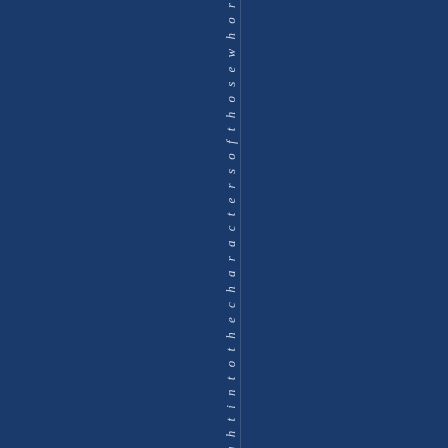[Figure (other): Dark navy blue background page with vertical italic text reading 'ght into the characters of those who r' running top to bottom near the center, with a faint vertical dividing line to its right.]